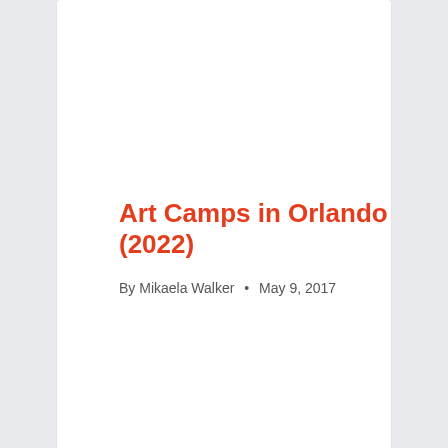Art Camps in Orlando (2022)
By Mikaela Walker • May 9, 2017